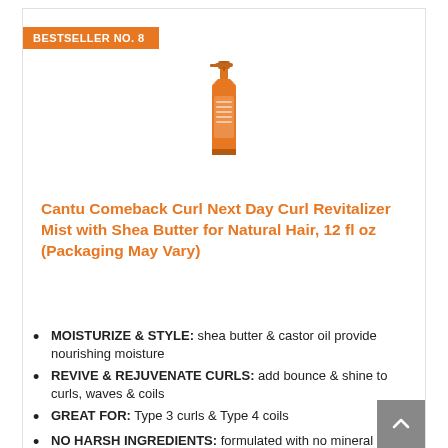BESTSELLER NO. 8
[Figure (photo): Orange spray bottle of Cantu Comeback Curl Next Day Curl Revitalizer Mist product]
Cantu Comeback Curl Next Day Curl Revitalizer Mist with Shea Butter for Natural Hair, 12 fl oz (Packaging May Vary)
MOISTURIZE & STYLE: shea butter & castor oil provide nourishing moisture
REVIVE & REJUVENATE CURLS: add bounce & shine to curls, waves & coils
GREAT FOR: Type 3 curls & Type 4 coils
NO HARSH INGREDIENTS: formulated with no mineral oil, sulfates, parabens, silicones, phthalates, gluten, drying alcohol, formaldehyde